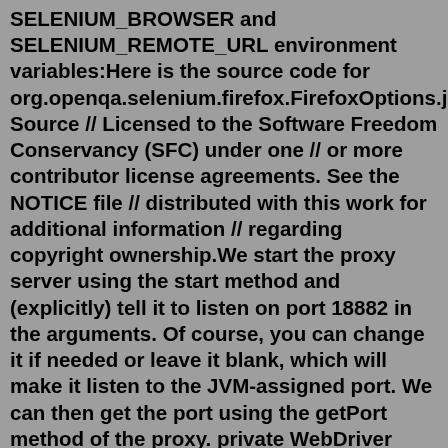SELENIUM_BROWSER and SELENIUM_REMOTE_URL environment variables:Here is the source code for org.openqa.selenium.firefox.FirefoxOptions.java Source // Licensed to the Software Freedom Conservancy (SFC) under one // or more contributor license agreements. See the NOTICE file // distributed with this work for additional information // regarding copyright ownership.We start the proxy server using the start method and (explicitly) tell it to listen on port 18882 in the arguments. Of course, you can change it if needed or leave it blank, which will make it listen to the JVM-assigned port. We can then get the port using the getPort method of the proxy. private WebDriver driver; private BrowserMobProxyServer ...Jan 15, 2019 · We also call it handling SSL certificate message through Selenium. ... FirefoxOptions foxOpt = new FirefoxOptions(); foxOpt.setAcceptInsecureCerts(true); WebDriver ... en Python sélénium, vous devez définir desired_capabilities comme: maximum tous les